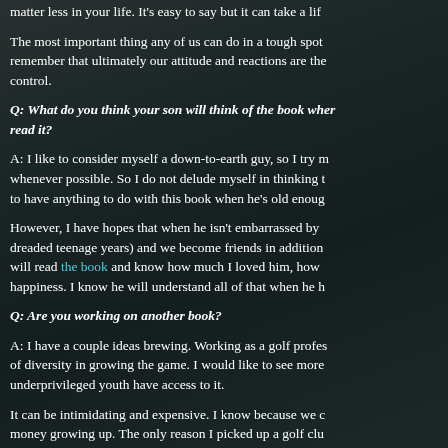matter less in your life. It's easy to say but it can take a lif
The most important thing any of us can do in a tough spot remember that ultimately our attitude and reactions are the control.
Q: What do you think your son will think of the book when he read it?
A: I like to consider myself a down-to-earth guy, so I try m whenever possible. So I do not delude myself in thinking to have anything to do with this book when he's old enoug
However, I have hopes that when he isn't embarrassed by dreaded teenage years) and we become friends in addition will read the book and know how much I loved him, how happiness. I know he will understand all of that when he h
Q: Are you working on another book?
A: I have a couple ideas brewing. Working as a golf profes of diversity in growing the game. I would like to see more underprivileged youth have access to it.
It can be intimidating and expensive. I know because we c money growing up. The only reason I picked up a golf clu